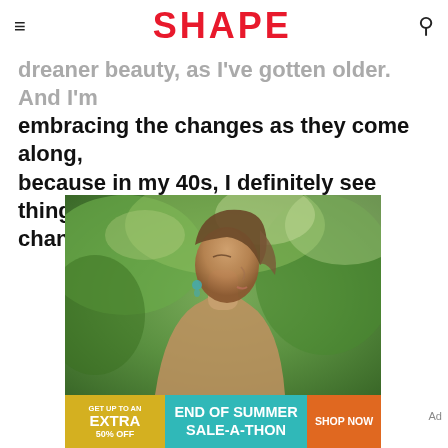SHAPE
dreaner beauty, as I've gotten older. And I'm embracing the changes as they come along, because in my 40s, I definitely see things changing."
[Figure (photo): Woman photographed in profile against a green outdoor background, with brown hair, earrings, looking upward]
GET UP TO AN EXTRA 50% OFF | END OF SUMMER SALE-A-THON | SHOP NOW